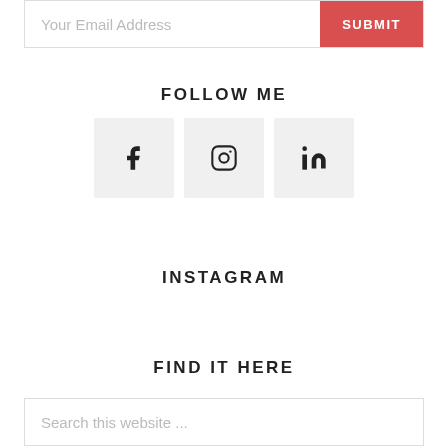Your Email Address
SUBMIT
FOLLOW ME
[Figure (infographic): Three social media icon buttons: Facebook (f), Instagram (camera), LinkedIn (in), each in a light grey square box]
INSTAGRAM
FIND IT HERE
Search this website ...